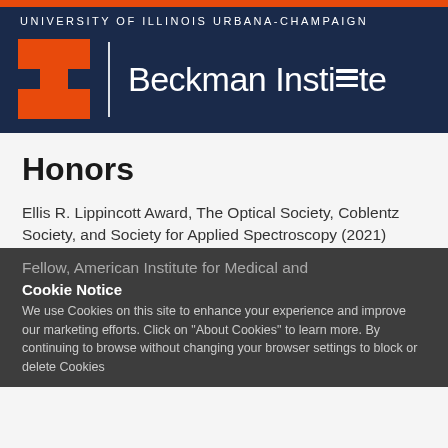UNIVERSITY OF ILLINOIS URBANA-CHAMPAIGN
[Figure (logo): University of Illinois block I logo in orange, and Beckman Institute text in white on navy background]
Honors
Ellis R. Lippincott Award, The Optical Society, Coblentz Society, and Society for Applied Spectroscopy (2021)
Fellow, American Association for the Advancement of Science (2020)
Beckman Vision and Spirit Award (2017)
Agilent Thought Leader Award (2016)
Fellow, American Institute for Medical and Biological Engineering
Cookie Notice
We use Cookies on this site to enhance your experience and improve our marketing efforts. Click on "About Cookies" to learn more. By continuing to browse without changing your browser settings to block or delete Cookies